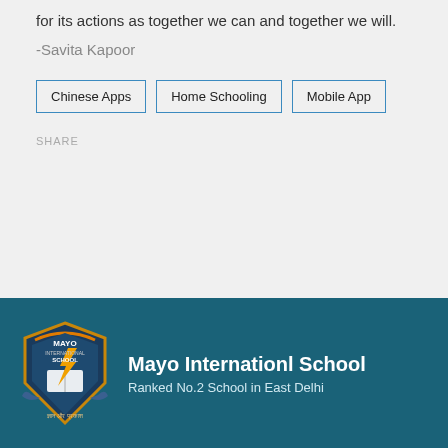for its actions as together we can and together we will.
-Savita Kapoor
Chinese Apps
Home Schooling
Mobile App
SHARE
[Figure (logo): Mayo International School shield logo with book, lightning bolt, and text MAYO INTERNATIONAL SCHOOL]
Mayo Internationl School
Ranked No.2 School in East Delhi